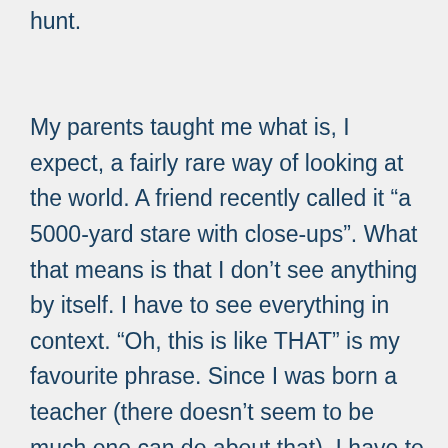hunt.
My parents taught me what is, I expect, a fairly rare way of looking at the world. A friend recently called it “a 5000-yard stare with close-ups”. What that means is that I don’t see anything by itself. I have to see everything in context. “Oh, this is like THAT” is my favourite phrase. Since I was born a teacher (there doesn’t seem to be much one can do about that), I have to draw parallels,